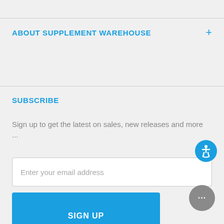ABOUT SUPPLEMENT WAREHOUSE
SUBSCRIBE
Sign up to get the latest on sales, new releases and more ...
[Figure (screenshot): Email address input field with placeholder text 'Enter your email address']
[Figure (screenshot): Blue 'SIGN UP' button]
[Figure (infographic): Yotpo ratings badge showing 5 stars and 16,872 Ratings]
[Figure (illustration): Blue circular accessibility icon (wheelchair symbol)]
[Figure (illustration): Gray circular chat button with ellipsis (...)]